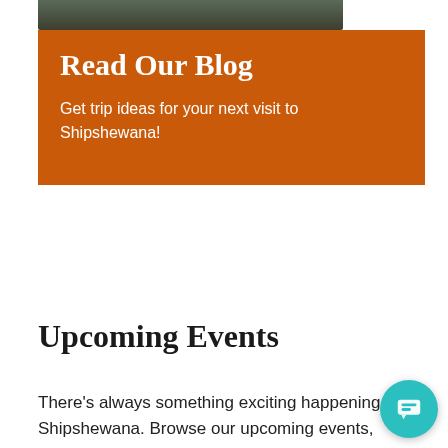[Figure (photo): Partial top of a scenic nature/travel image cropped at the top of the page]
Read Our Blog
Get trip ideas for your next visit to Shipshewana!
Upcoming Events
There's always something exciting happening at Shipshewana. Browse our upcoming events, and book